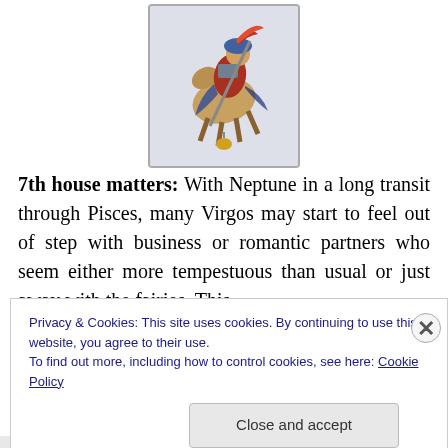[Figure (illustration): Tarot card shown upside down, depicting a knight or figure on horseback with decorative medieval imagery, colored in browns, reds, and blues against a light background. Card has a white border with gray outline.]
7th house matters: With Neptune in a long transit through Pisces, many Virgos may start to feel out of step with business or romantic partners who seem either more tempestuous than usual or just away with the fairies. This
Privacy & Cookies: This site uses cookies. By continuing to use this website, you agree to their use.
To find out more, including how to control cookies, see here: Cookie Policy
Close and accept